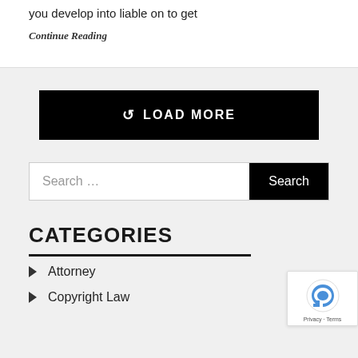you develop into liable on to get
Continue Reading
LOAD MORE
Search ...
CATEGORIES
Attorney
Copyright Law